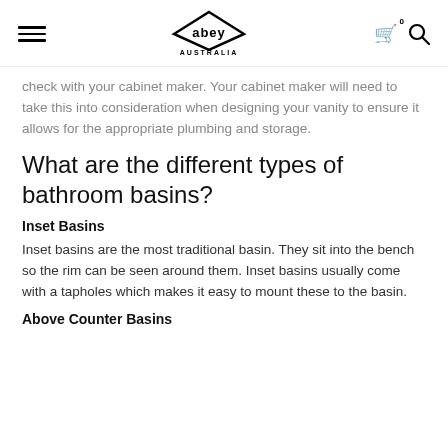abey AUSTRALIA
check with your cabinet maker. Your cabinet maker will need to take this into consideration when designing your vanity to ensure it allows for the appropriate plumbing and storage.
What are the different types of bathroom basins?
Inset Basins
Inset basins are the most traditional basin. They sit into the bench so the rim can be seen around them. Inset basins usually come with a tapholes which makes it easy to mount these to the basin.
Above Counter Basins